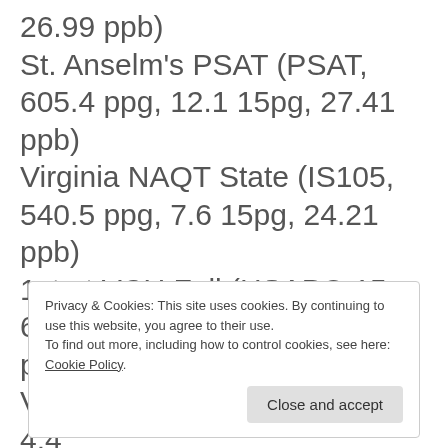26.99 ppb) St. Anselm's PSAT (PSAT, 605.4 ppg, 12.1 15pg, 27.41 ppb) Virginia NAQT State (IS105, 540.5 ppg, 7.6 15pg, 24.21 ppb) 1st at VCU Fall (HSAPQ 15, 630 ppg, 12.4 15pg, 25.25 ppb) VCU LIST (LIST, 366.5 ppg, 4.4
Privacy & Cookies: This site uses cookies. By continuing to use this website, you agree to their use.
To find out more, including how to control cookies, see here:
Cookie Policy
Close and accept